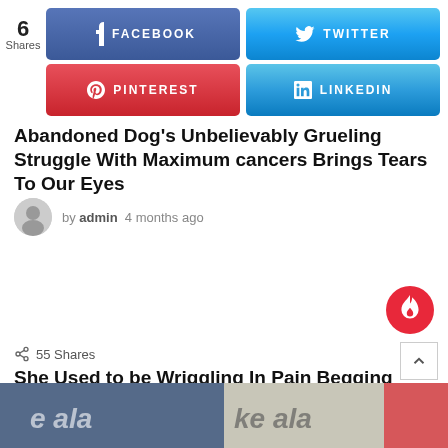[Figure (infographic): Social share buttons: Facebook (6 shares), Twitter, Pinterest, LinkedIn]
Abandoned Dog's Unbelievably Grueling Struggle With Maximum cancers Brings Tears To Our Eyes
by admin 4 months ago
55 Shares
She Used to be Wriggling In Pain Begging Rescuer To Save Her After Fight Broke
by admin 8 months ago
[Figure (photo): Two thumbnail images at the bottom with text overlay 'e ala' and 'ke ala']